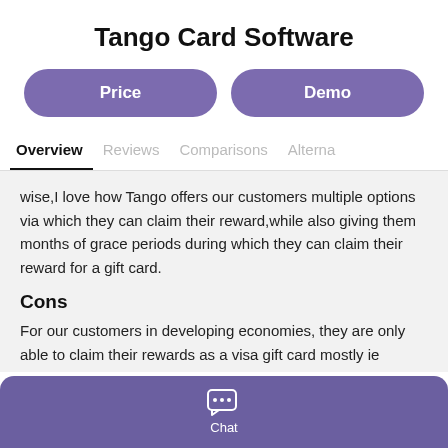Tango Card Software
[Figure (other): Two rounded rectangle buttons: 'Price' and 'Demo', both in purple]
Overview | Reviews | Comparisons | Alterna
wise,I love how Tango offers our customers multiple options via which they can claim their reward,while also giving them months of grace periods during which they can claim their reward for a gift card.
Cons
For our customers in developing economies, they are only able to claim their rewards as a visa gift card mostly ie
[Figure (other): Purple rounded bar at bottom with chat bubble icon and 'Chat' label]